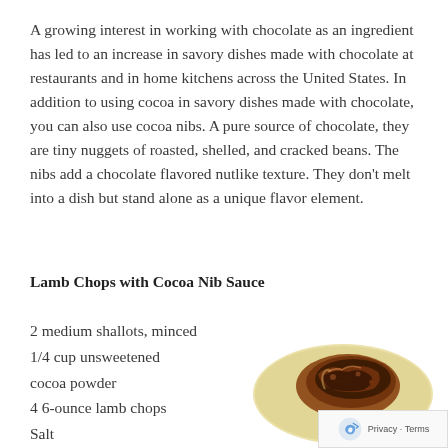A growing interest in working with chocolate as an ingredient has led to an increase in savory dishes made with chocolate at restaurants and in home kitchens across the United States. In addition to using cocoa in savory dishes made with chocolate, you can also use cocoa nibs. A pure source of chocolate, they are tiny nuggets of roasted, shelled, and cracked beans. The nibs add a chocolate flavored nutlike texture. They don't melt into a dish but stand alone as a unique flavor element.
Lamb Chops with Cocoa Nib Sauce
2 medium shallots, minced
1/4 cup unsweetened cocoa powder
4 6-ounce lamb chops
Salt
[Figure (photo): A photo of cooked lamb chops with dark cocoa nib sauce served on a round plate, on a white background.]